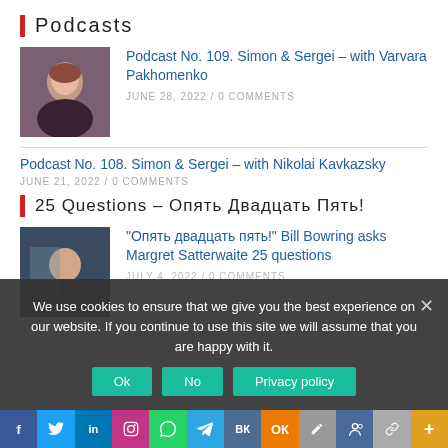Podcasts
[Figure (photo): Portrait photo of a young woman with short red-brown hair]
Podcast No. 109. Simon & Sergei – with Varvara Pakhomenko
JUNE 28, 2022 / 0 COMMENTS
Podcast No. 108. Simon & Sergei – with Nikolai Kavkazsky
JUNE 21, 2022 / 0 COMMENTS
25 Questions – Опять Двадцать Пять!
[Figure (photo): Photo of a woman standing outside, smiling]
"Опять двадцать пять!" Bill Bowring asks Margret Satterwaite 25 questions
JULY 4, 2022 / 0 COMMENTS
We use cookies to ensure that we give you the best experience on our website. If you continue to use this site we will assume that you are happy with it.
Ok
No
Privacy policy